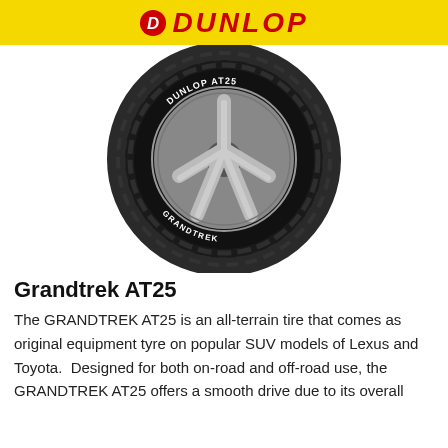DUNLOP
[Figure (photo): Dunlop Grandtrek AT25 tire mounted on a silver alloy wheel, shown at an angle against a white background. The tire sidewall reads 'DUNLOP AT25' and 'GRANDTREK'.]
Grandtrek AT25
The GRANDTREK AT25 is an all-terrain tire that comes as original equipment tyre on popular SUV models of Lexus and Toyota. Designed for both on-road and off-road use, the GRANDTREK AT25 offers a smooth drive due to its overall